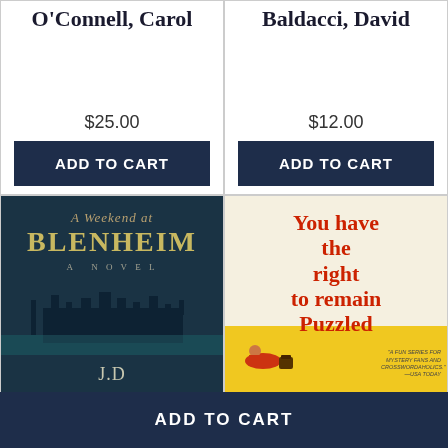O'Connell, Carol
Baldacci, David
$25.00
$12.00
ADD TO CART
ADD TO CART
[Figure (illustration): Book cover: A Weekend at Blenheim - A Novel, dark blue cover showing a castle silhouette, by J.D., with text 'A GRIPPING TALE OF INTRIGUE — IAIN PEARS']
[Figure (illustration): Book cover: You Have the Right to Remain Puzzled, yellow and cream cover with red title text and reclining figure]
ADD TO CART
A Weekend At
You Have the Right